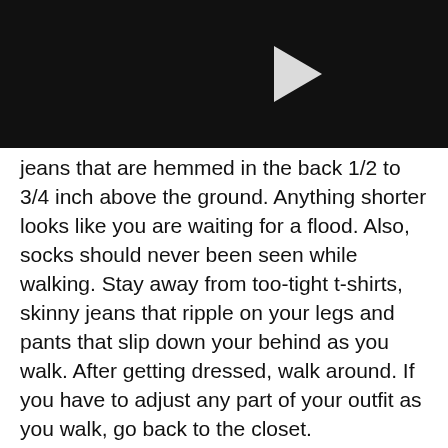[Figure (screenshot): Video player with dark background and white play button triangle]
Brought to you by LeafTV
jeans that are hemmed in the back 1/2 to 3/4 inch above the ground. Anything shorter looks like you are waiting for a flood. Also, socks should never been seen while walking. Stay away from too-tight t-shirts, skinny jeans that ripple on your legs and pants that slip down your behind as you walk. After getting dressed, walk around. If you have to adjust any part of your outfit as you walk, go back to the closet.
Layer with Confidence
Layering is a good fashion strategy when getting dressed for a party. Start with a basic short- or long-sleeved tee and add a cardigan, v-neck